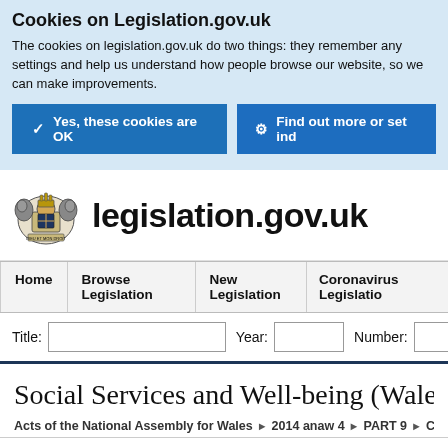Cookies on Legislation.gov.uk
The cookies on legislation.gov.uk do two things: they remember any settings and help us understand how people browse our website, so we can make improvements.
✓  Yes, these cookies are OK
⚙  Find out more or set individual cookie preferences
[Figure (logo): UK Royal coat of arms crest alongside 'legislation.gov.uk' text logo]
Home | Browse Legislation | New Legislation | Coronavirus Legislation
Title:   Year:   Number:
Social Services and Well-being (Wales) Act
Acts of the National Assembly for Wales ▶ 2014 anaw 4 ▶ PART 9 ▶ Co-operation
Table of Contents  Sections  Explanatory Notes ...